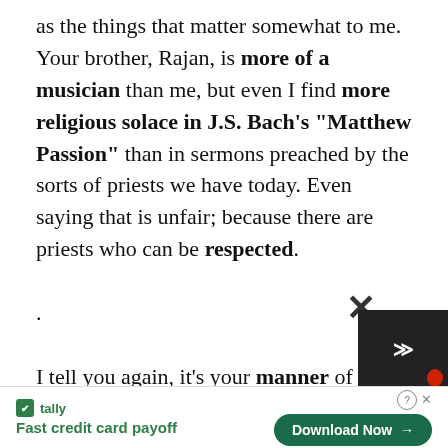as the things that matter somewhat to me. Your brother, Rajan, is more of a musician than me, but even I find more religious solace in J.S. Bach's "Matthew Passion" than in sermons preached by the sorts of priests we have today. Even saying that is unfair; because there are priests who can be respected.

.

I tell you again, it's your manner of talking about Hinduism and Caste that
[Figure (screenshot): Advertisement banner: Tally app - Fast credit card payoff, with Download Now button and close/overlay controls]